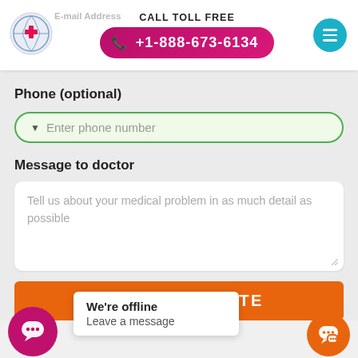[Figure (screenshot): Website header with logo (globe with red cross), email address label, call toll free section with pink pill button showing +1-888-673-6134, and teal hamburger menu button]
Phone (optional)
Enter phone number
Message to doctor
Tell us about your medical problem in as much detail as possible
GET FREE QUOTE
We're offline
Leave a message